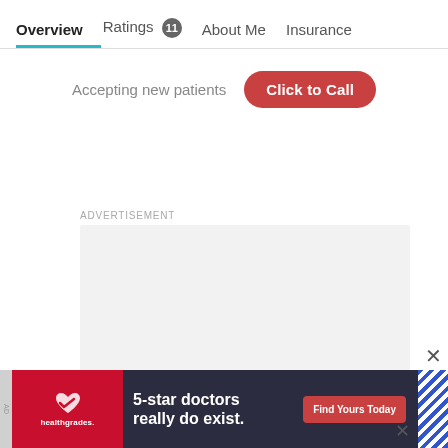Overview | Ratings 11 | About Me | Insurance
Accepting new patients
Click to Call
ADVERTISEMENT
[Figure (other): Gray advertisement placeholder box]
[Figure (other): Healthgrades banner ad: 5-star doctors really do exist. Find Yours Today button. Dark background with photo of doctor.]